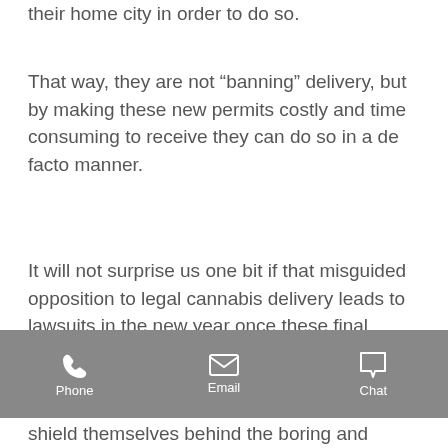their home city in order to do so.
That way, they are not “banning” delivery, but by making these new permits costly and time consuming to receive they can do so in a de facto manner.
It will not surprise us one bit if that misguided opposition to legal cannabis delivery leads to lawsuits in the new year once these final regulations are approved at the state level by the Office of Administrative Law.
Opponents to cannabis delivery continually try to paint the service as
Phone   Email   Chat
shield themselves behind the boring and